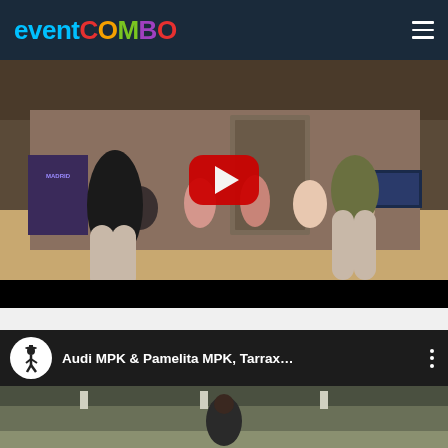[Figure (logo): Eventcombo logo in colorful letters on dark navy header bar]
[Figure (screenshot): YouTube video thumbnail showing two women dancing in front of an audience in a dance studio with a YouTube play button overlay. Video has a black bar at the bottom.]
[Figure (screenshot): Second YouTube video preview showing channel icon of a dancer, title 'Audi MPK & Pamelita MPK, Tarrax...' with three-dot menu, and video preview of a dance studio]